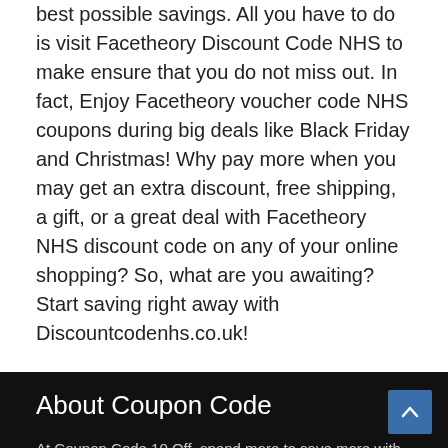best possible savings. All you have to do is visit Facetheory Discount Code NHS to make ensure that you do not miss out. In fact, Enjoy Facetheory voucher code NHS coupons during big deals like Black Friday and Christmas! Why pay more when you may get an extra discount, free shipping, a gift, or a great deal with Facetheory NHS discount code on any of your online shopping? So, what are you awaiting? Start saving right away with Discountcodenhs.co.uk!
About Coupon Code
At Coupon Code 10 Off, spend more to save more with discount codes. Get the top promo codes, best offers, deals and more to enjoy your experience while you shop online. Excited to shop via voucher code? Get, set, go!